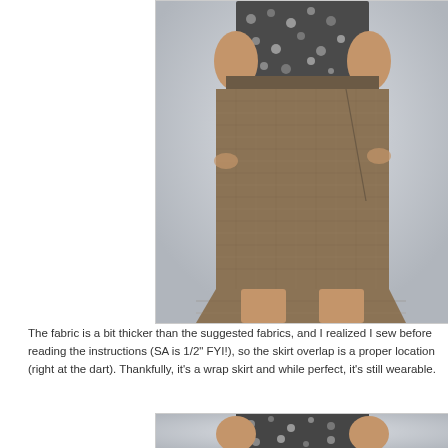[Figure (photo): Back view of a person wearing a brown tweed wrap skirt and a black and white patterned top, standing against a light grey background. The skirt falls above the knee.]
The fabric is a bit thicker than the suggested fabrics, and I realized I sewed before reading the instructions (SA is 1/2" FYI!), so the skirt overlap is at the proper location (right at the dart).  Thankfully, it's a wrap skirt and while it's not perfect, it's still wearable.
[Figure (photo): Partial view of a person wearing a black and white patterned top, cropped at the torso.]